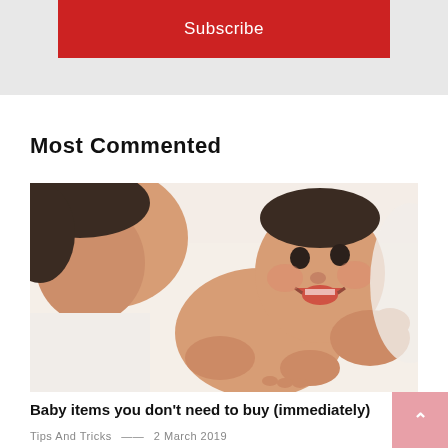[Figure (other): Red Subscribe button on grey background]
Most Commented
[Figure (photo): A smiling baby lying down while a mother kisses its cheek, both on white background]
Baby items you don't need to buy (immediately)
Tips And Tricks — 2 March 2019